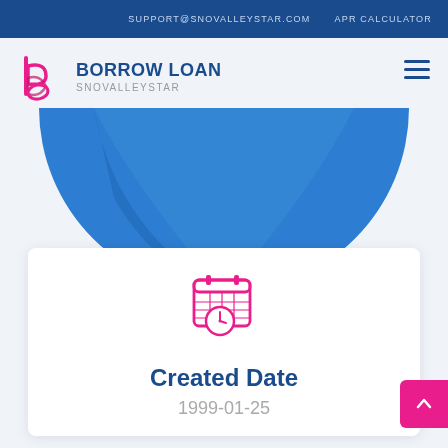SUPPORT@SNOVALLEYSTAR.COM   APR CALCULATOR
[Figure (logo): Borrow Loan Snovalleystar logo with stylized 'b' icon in pink/magenta and text 'BORROW LOAN SNOVALLEYSTAR']
[Figure (illustration): Blue half-circle / bowl decorative graphic]
[Figure (illustration): Pink/magenta calendar icon with clock overlay]
Created Date
1999-01-25